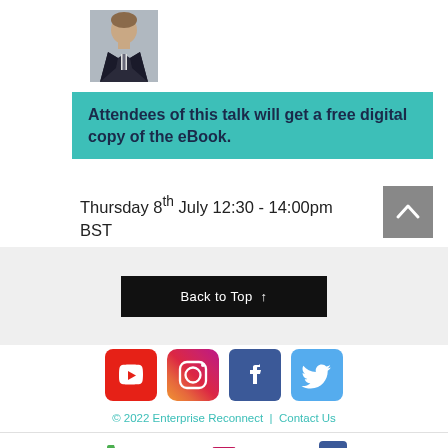[Figure (photo): Headshot photo of a man in a dark suit and tie]
Attendees of this talk will get a free digital copy of the eBook.
Thursday 8th July 12:30 - 14:00pm BST
[Figure (other): Back to Top button with upward arrow]
[Figure (infographic): Social media icons: YouTube, Instagram, Facebook, Twitter]
© 2022 Enterprise Reconnect | Contact Us
[Figure (infographic): Mobile footer icons: phone, email, Facebook]